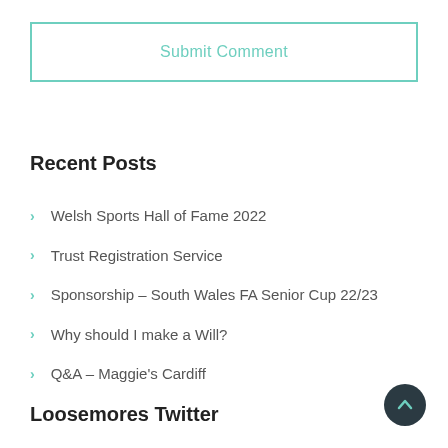Submit Comment
Recent Posts
Welsh Sports Hall of Fame 2022
Trust Registration Service
Sponsorship – South Wales FA Senior Cup 22/23
Why should I make a Will?
Q&A – Maggie's Cardiff
Loosemores Twitter